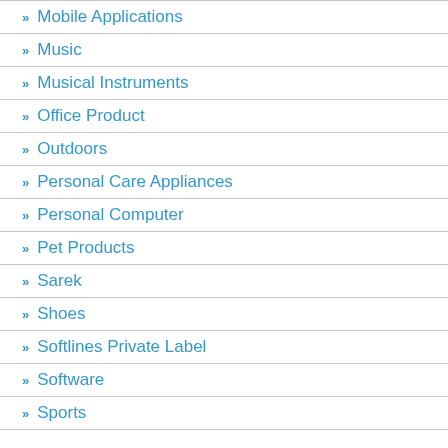Mobile Applications
Music
Musical Instruments
Office Product
Outdoors
Personal Care Appliances
Personal Computer
Pet Products
Sarek
Shoes
Softlines Private Label
Software
Sports